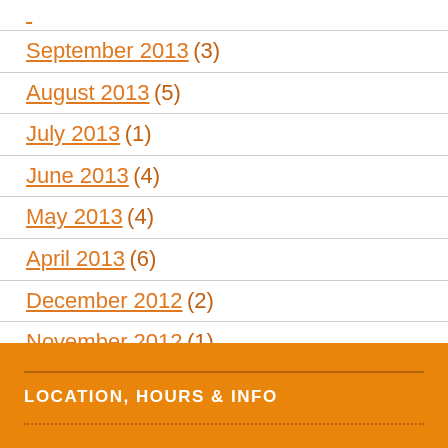September 2013 (3)
August 2013 (5)
July 2013 (1)
June 2013 (4)
May 2013 (4)
April 2013 (6)
December 2012 (2)
November 2012 (1)
May 2012 (2)
LOCATION, HOURS & INFO